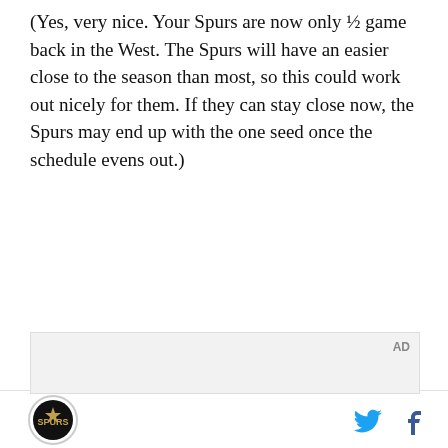(Yes, very nice. Your Spurs are now only ½ game back in the West. The Spurs will have an easier close to the season than most, so this could work out nicely for them. If they can stay close now, the Spurs may end up with the one seed once the schedule evens out.)
[Figure (screenshot): Advertisement video player showing a person holding a folding phone in a car, with text overlay 'Unfold your world' and a play button. An 'AD' label appears in the top right of the ad container.]
Spurs logo icon | Twitter bird icon | Facebook f icon